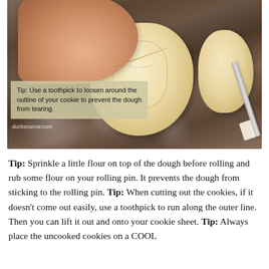[Figure (photo): Photo of cookie dough being cut with snowman-shaped stamp on a granite countertop dusted with flour. A hand holds a toothpick to loosen the dough outline. A knife is visible in the lower right. An overlay tip box reads: Tip: Use a toothpick to loosen around the outline of your cookie to prevent the dough from tearing. Website watermark: ducksnarow.com]
Tip: Sprinkle a little flour on top of the dough before rolling and rub some flour on your rolling pin. It prevents the dough from sticking to the rolling pin. Tip: When cutting out the cookies, if it doesn't come out easily, use a toothpick to run along the outer line. Then you can lift it out and onto your cookie sheet. Tip: Always place the uncooked cookies on a COOL